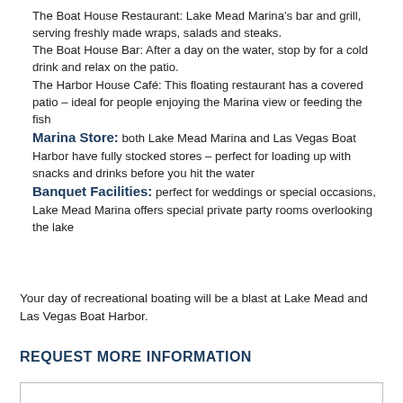The Boat House Restaurant: Lake Mead Marina's bar and grill, serving freshly made wraps, salads and steaks.
The Boat House Bar: After a day on the water, stop by for a cold drink and relax on the patio.
The Harbor House Café: This floating restaurant has a covered patio – ideal for people enjoying the Marina view or feeding the fish
Marina Store: both Lake Mead Marina and Las Vegas Boat Harbor have fully stocked stores – perfect for loading up with snacks and drinks before you hit the water
Banquet Facilities: perfect for weddings or special occasions, Lake Mead Marina offers special private party rooms overlooking the lake
Your day of recreational boating will be a blast at Lake Mead and Las Vegas Boat Harbor.
REQUEST MORE INFORMATION